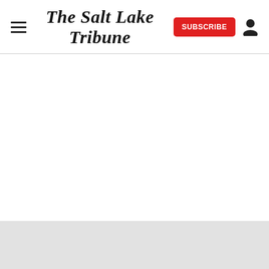The Salt Lake Tribune
[Figure (logo): Small teal polygon/arrow icon (Tether or similar brand logo)]
Producer/writer Damon Lindelof (“Lost,” “The Leftovers”) is steeling himself for the social media